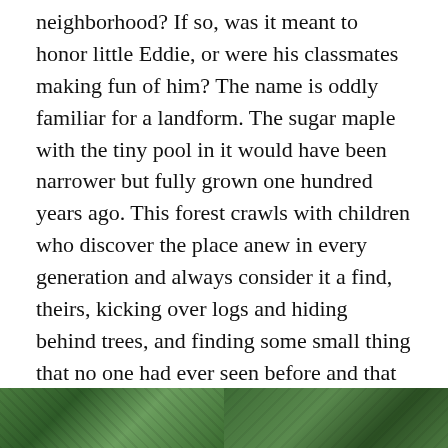neighborhood? If so, was it meant to honor little Eddie, or were his classmates making fun of him? The name is oddly familiar for a landform. The sugar maple with the tiny pool in it would have been narrower but fully grown one hundred years ago. This forest crawls with children who discover the place anew in every generation and always consider it a find, theirs, kicking over logs and hiding behind trees, and finding some small thing that no one had ever seen before and that might never be seen again. I'm sympathetic: that's my game, too. On the walk upslope, I ran across a person-sized fort of ash bark and branches propped on the rim of the kettle.
[Figure (photo): Two partial nature/forest photographs side by side at the bottom of the page, showing green foliage.]